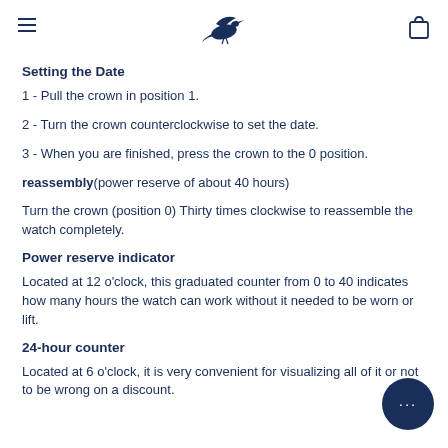Navigation header with logo (bird), hamburger menu, and bag icon
Setting the Date
1 - Pull the crown in position 1.
2 - Turn the crown counterclockwise to set the date.
3 - When you are finished, press the crown to the 0 position.
reassembly(power reserve of about 40 hours)
Turn the crown (position 0) Thirty times clockwise to reassemble the watch completely.
Power reserve indicator
Located at 12 o'clock, this graduated counter from 0 to 40 indicates how many hours the watch can work without it needed to be worn or lift.
24-hour counter
Located at 6 o'clock, it is very convenient for visualizing all of it or not to be wrong on a discount.